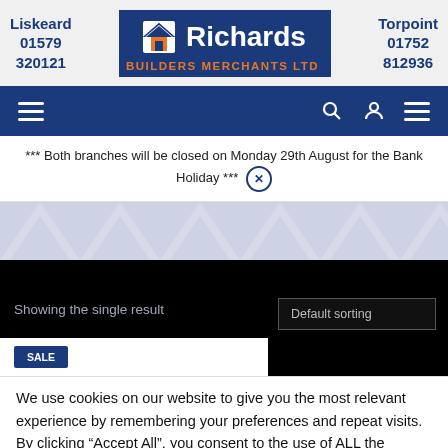[Figure (logo): Richards Builders Merchants Ltd logo with house icon, flanked by Liskeard (01579 320121) and Torpoint (01752 812936) contact info]
[Figure (screenshot): Navigation bar with hamburger menu icon on left and search, account, menu icons on right, dark blue background]
*** Both branches will be closed on Monday 29th August for the Bank Holiday ***
[Figure (screenshot): Hero area with light blue/grey chevron pattern]
Showing the single result
Default sorting
We use cookies on our website to give you the most relevant experience by remembering your preferences and repeat visits. By clicking “Accept All”, you consent to the use of ALL the cookies...